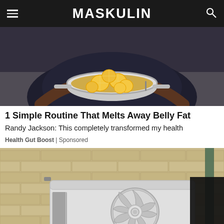MASKULIN
[Figure (photo): Person in dark patterned shirt holding a stainless steel pan filled with lemon slices in liquid, kitchen background]
1 Simple Routine That Melts Away Belly Fat
Randy Jackson: This completely transformed my health
Health Gut Boost | Sponsored
[Figure (photo): Outdoor HVAC/air conditioning unit mounted on a brick wall exterior, with a video player overlay showing a dark screen and a right arrow navigation button]